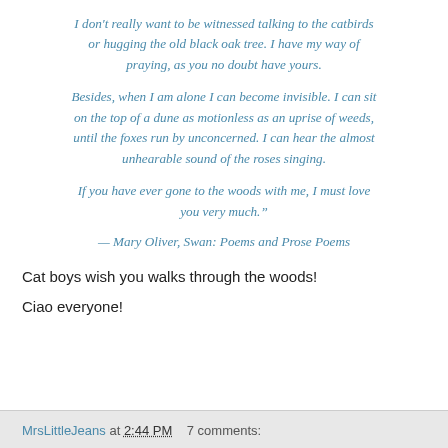I don't really want to be witnessed talking to the catbirds or hugging the old black oak tree. I have my way of praying, as you no doubt have yours.
Besides, when I am alone I can become invisible. I can sit on the top of a dune as motionless as an uprise of weeds, until the foxes run by unconcerned. I can hear the almost unhearable sound of the roses singing.
If you have ever gone to the woods with me, I must love you very much.”
— Mary Oliver, Swan: Poems and Prose Poems
Cat boys wish you walks through the woods!
Ciao everyone!
MrsLittleJeans at 2:44 PM   7 comments: